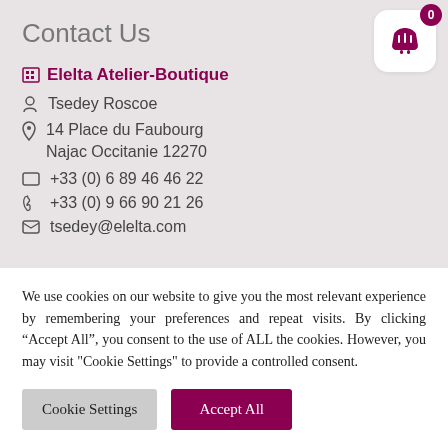Contact Us
Elelta Atelier-Boutique
Tsedey Roscoe
14 Place du Faubourg Najac Occitanie 12270
+33 (0) 6 89 46 46 22
+33 (0) 9 66 90 21 26
tsedey@elelta.com
We use cookies on our website to give you the most relevant experience by remembering your preferences and repeat visits. By clicking “Accept All”, you consent to the use of ALL the cookies. However, you may visit "Cookie Settings" to provide a controlled consent.